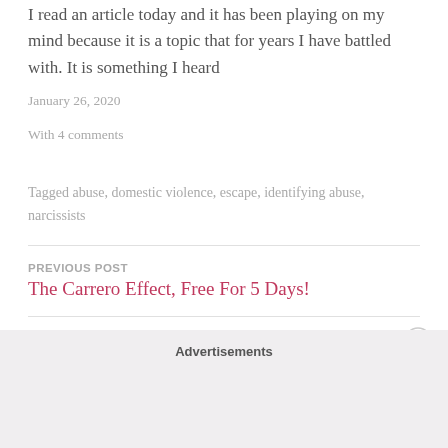I read an article today and it has been playing on my mind because it is a topic that for years I have battled with. It is something I heard
January 26, 2020
With 4 comments
Tagged abuse, domestic violence, escape, identifying abuse, narcissists
PREVIOUS POST
The Carrero Effect, Free For 5 Days!
NEXT POST
Advertisements